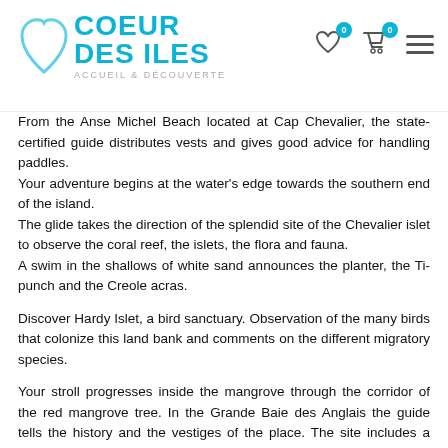COEUR DES ILES — ACCUEIL & DÉCOUVERTE (logo header with wishlist and cart icons)
From the Anse Michel Beach located at Cap Chevalier, the state-certified guide distributes vests and gives good advice for handling paddles.
Your adventure begins at the water's edge towards the southern end of the island.
The glide takes the direction of the splendid site of the Chevalier islet to observe the coral reef, the islets, the flora and fauna.
A swim in the shallows of white sand announces the planter, the Ti-punch and the Creole acras.
Discover Hardy Islet, a bird sanctuary. Observation of the many birds that colonize this land bank and comments on the different migratory species.
Your stroll progresses inside the mangrove through the corridor of the red mangrove tree. In the Grande Baie des Anglais the guide tells the history and the vestiges of the place. The site includes a cyclone hole, sugar mills, a lime kiln, and Melon plantations.
After a swim, Creole lunch is served on a beach in the Baie des Anglais. A Creole menu, seasonal fruits, digestives and various drinks invigorate the body and mind before a new swim and the last paddle strokes on the way back.